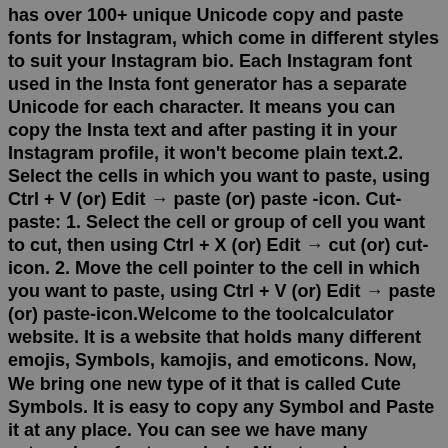has over 100+ unique Unicode copy and paste fonts for Instagram, which come in different styles to suit your Instagram bio. Each Instagram font used in the Insta font generator has a separate Unicode for each character. It means you can copy the Insta text and after pasting it in your Instagram profile, it won't become plain text.2. Select the cells in which you want to paste, using Ctrl + V (or) Edit → paste (or) paste -icon. Cut- paste: 1. Select the cell or group of cell you want to cut, then using Ctrl + X (or) Edit → cut (or) cut-icon. 2. Move the cell pointer to the cell in which you want to paste, using Ctrl + V (or) Edit → paste (or) paste-icon.Welcome to the toolcalculator website. It is a website that holds many different emojis, Symbols, kamojis, and emoticons. Now, We bring one new type of it that is called Cute Symbols. It is easy to copy any Symbol and Paste it at any place. You can see we have many categories of cute symbols. All categories are mention at the top of the page, you firstly look at all categories and click on ...How to Copy \(^ ^)ﾉ Kaomoji / Japanese Text Faces? It is